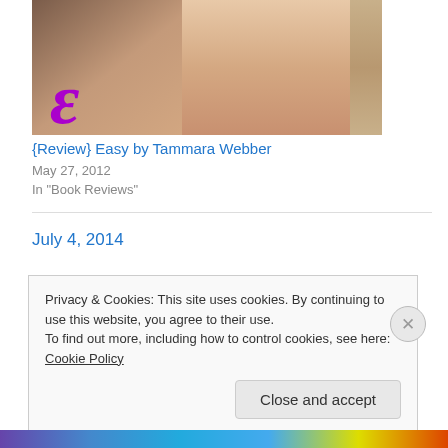[Figure (photo): Book cover photo showing two faces close together, with a purple stylized letter S visible, teal/blue background, wood texture on right edge]
{Review} Easy by Tammara Webber
May 27, 2012
In "Book Reviews"
July 4, 2014
Privacy & Cookies: This site uses cookies. By continuing to use this website, you agree to their use.
To find out more, including how to control cookies, see here: Cookie Policy
Close and accept